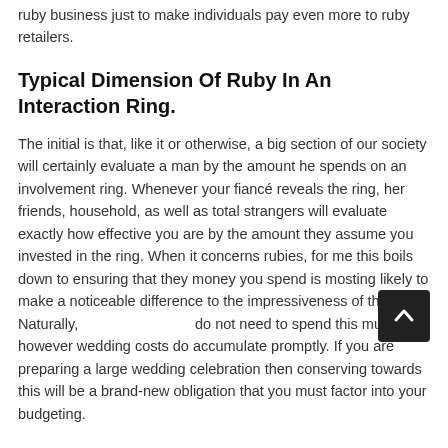ruby business just to make individuals pay even more to ruby retailers.
Typical Dimension Of Ruby In An Interaction Ring.
The initial is that, like it or otherwise, a big section of our society will certainly evaluate a man by the amount he spends on an involvement ring. Whenever your fiancé reveals the ring, her friends, household, as well as total strangers will evaluate exactly how effective you are by the amount they assume you invested in the ring. When it concerns rubies, for me this boils down to ensuring that they money you spend is mosting likely to make a noticeable difference to the impressiveness of the ring. Naturally, do not need to spend this much, however wedding costs do accumulate promptly. If you are preparing a large wedding celebration then conserving towards this will be a brand-new obligation that you must factor into your budgeting.